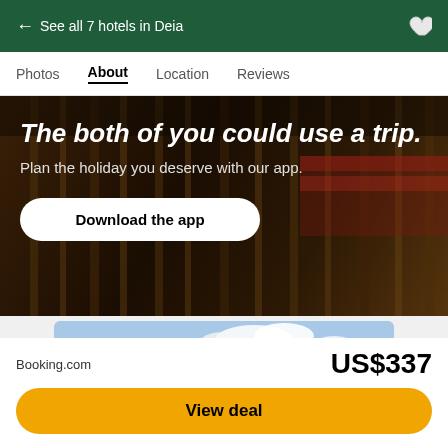← See all 7 hotels in Deia
Photos  About  Location  Reviews
[Figure (photo): Dark promotional banner with hanging items in background. White bold italic text reads 'The both of you could use a trip.' with subtitle 'Plan the holiday you deserve with our app.' and a white rounded button 'Download the app'.]
[Figure (photo): Hotel exterior with large glass sliding doors, outdoor terrace with dining furniture, surrounded by green trees and mountains in background under blue sky.]
Booking.com
US$337
View deal